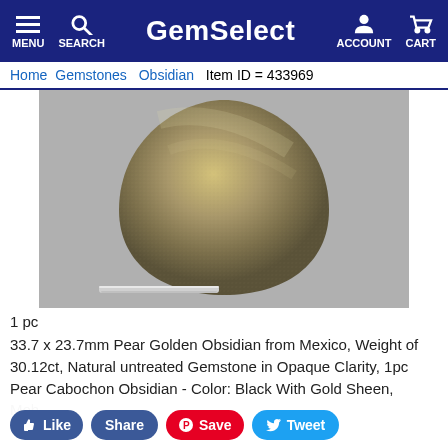GemSelect — MENU SEARCH ACCOUNT CART
Home > Gemstones > Obsidian  Item ID = 433969
[Figure (photo): Close-up photo of a pear-shaped golden obsidian cabochon gemstone held by tweezers, showing a smooth domed surface with golden-brown sheen against a grey background.]
1 pc
33.7 x 23.7mm Pear Golden Obsidian from Mexico, Weight of 30.12ct, Natural untreated Gemstone in Opaque Clarity, 1pc Pear Cabochon Obsidian - Color: Black With Gold Sheen, Moh...